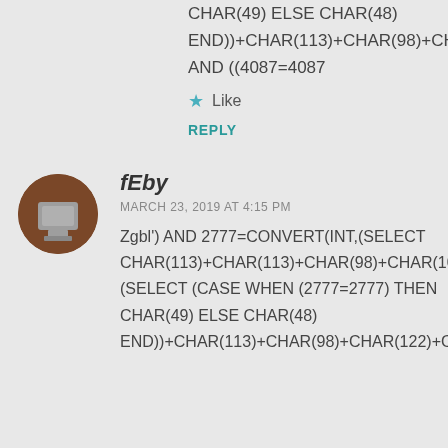CHAR(49) ELSE CHAR(48)
END))+CHAR(113)+CHAR(98)+CHAR(122)+CHAR(
AND ((4087=4087
Like
REPLY
fEby
MARCH 23, 2019 AT 4:15 PM
Zgbl') AND 2777=CONVERT(INT,(SELECT CHAR(113)+CHAR(113)+CHAR(98)+CHAR(106)+C (SELECT (CASE WHEN (2777=2777) THEN CHAR(49) ELSE CHAR(48) END))+CHAR(113)+CHAR(98)+CHAR(122)+CHAR(